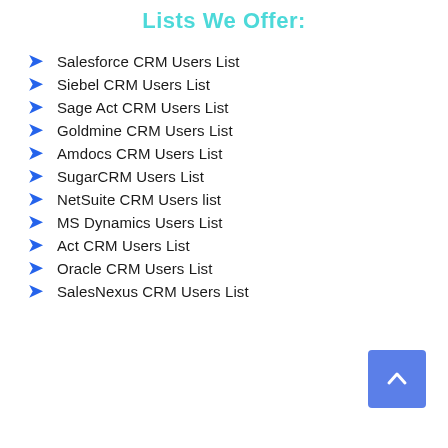Lists We Offer:
Salesforce CRM Users List
Siebel CRM Users List
Sage Act CRM Users List
Goldmine CRM Users List
Amdocs CRM Users List
SugarCRM Users List
NetSuite CRM Users list
MS Dynamics Users List
Act CRM Users List
Oracle CRM Users List
SalesNexus CRM Users List